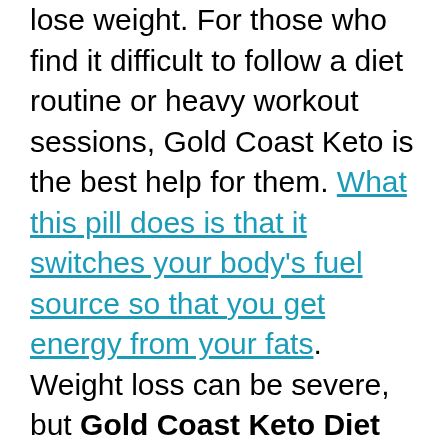lose weight. For those who find it difficult to follow a diet routine or heavy workout sessions, Gold Coast Keto is the best help for them. What this pill does is that it switches your body's fuel source so that you get energy from your fats. Weight loss can be severe, but Gold Coast Keto Diet Pills make it easier for you. With the help of this, you can lose weight and get a slimmer waist in just a matter of time. It kickstarts the ketosis process in your body from day one of consumption and burns the fat into a source of energy in your body.

The important part is to do reach Ketosis. How much lower the intake of carbohydrates in your daily diet. The reduction in blood sugar then takes